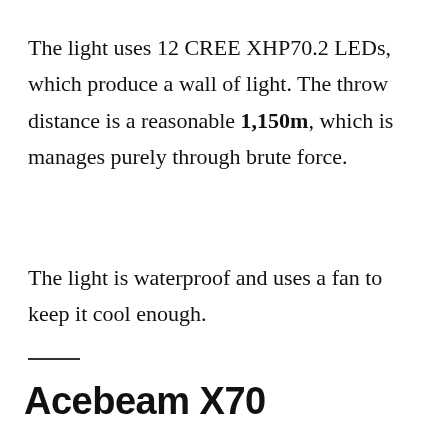The light uses 12 CREE XHP70.2 LEDs, which produce a wall of light. The throw distance is a reasonable 1,150m, which is manages purely through brute force.
The light is waterproof and uses a fan to keep it cool enough.
Acebeam X70